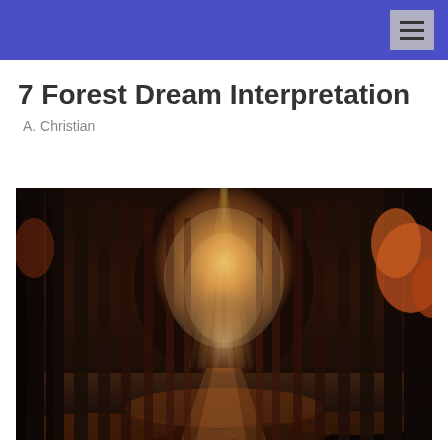7 Forest Dream Interpretation
A. Christian
[Figure (photo): A mystical autumn forest path with tall dark tree trunks on both sides, glowing warm golden-orange light in the center background, fallen orange leaves covering the ground, creating a moody atmospheric scene.]